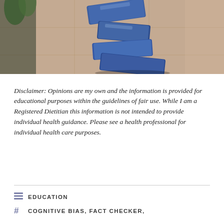[Figure (photo): Photo of blue stacked sculptural blocks or soap bars arranged in a zigzag tower on a tiled floor with plants partially visible in the background.]
Disclaimer: Opinions are my own and the information is provided for educational purposes within the guidelines of fair use. While I am a Registered Dietitian this information is not intended to provide individual health guidance. Please see a health professional for individual health care purposes.
EDUCATION
COGNITIVE BIAS, FACT CHECKER,